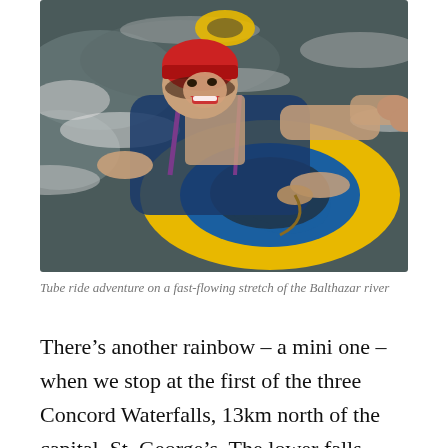[Figure (photo): A person laughing and riding a large yellow and blue inflatable tube through fast-flowing white water rapids, wearing a red helmet and blue life vest. Another yellow tube is visible in the background.]
Tube ride adventure on a fast-flowing stretch of the Balthazar river
There’s another rainbow – a mini one – when we stop at the first of the three Concord Waterfalls, 13km north of the capital, St. George’s. The lower falls (Concord) are at the end of a narrow, winding mountain road